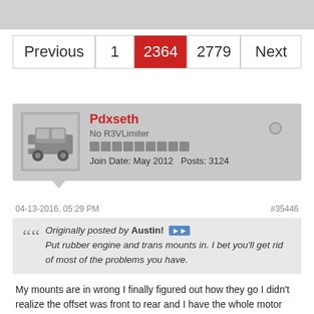[Figure (screenshot): Top gray banner area, partial content]
Previous  1  2364  2779  Next
[Figure (photo): Avatar photo of a car (BMW), gray background]
Pdxseth
No R3VLimiter
Join Date: May 2012  Posts: 3124
04-13-2016, 05:29 PM
#35446
Originally posted by Austin!
Put rubber engine and trans mounts in. I bet you'll get rid of most of the problems you have.
My mounts are in wrong I finally figured out how they go I didn't realize the offset was front to rear and I have the whole motor sitting to far right because that's the only way I could make the mounts work.
[Figure (photo): Partial photo of a dark colored car visible at the bottom of the page]